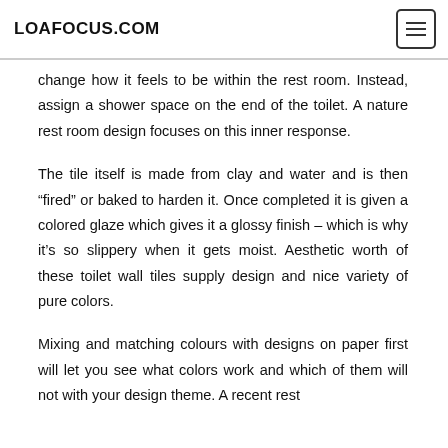LOAFOCUS.COM
change how it feels to be within the rest room. Instead, assign a shower space on the end of the toilet. A nature rest room design focuses on this inner response.
The tile itself is made from clay and water and is then “fired” or baked to harden it. Once completed it is given a colored glaze which gives it a glossy finish – which is why it’s so slippery when it gets moist. Aesthetic worth of these toilet wall tiles supply design and nice variety of pure colors.
Mixing and matching colours with designs on paper first will let you see what colors work and which of them will not with your design theme. A recent rest